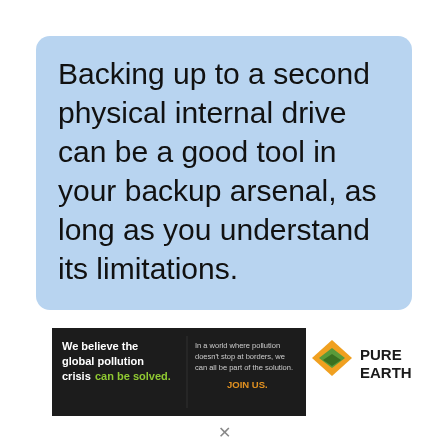Backing up to a second physical internal drive can be a good tool in your backup arsenal, as long as you understand its limitations.
[Figure (infographic): Pure Earth advertisement banner with dark background. Left side reads 'We believe the global pollution crisis can be solved.' in white and green text. Middle reads 'In a world where pollution doesn't stop at borders, we can all be part of the solution. JOIN US.' Right side shows Pure Earth logo with diamond/leaf icon.]